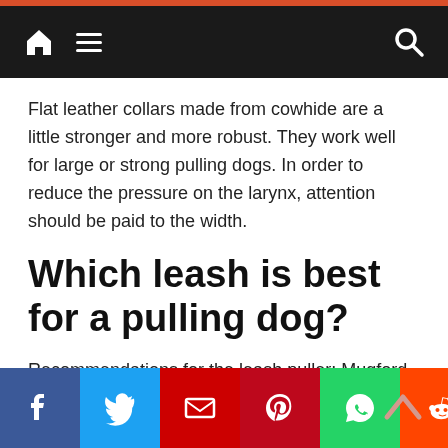Navigation bar with home, menu, and search icons
Flat leather collars made from cowhide are a little stronger and more robust. They work well for large or strong pulling dogs. In order to reduce the pressure on the larynx, attention should be paid to the width.
Which leash is best for a pulling dog?
Recommendations for the leash puller: Mugford Halti Harness allows a leash to be guided with minimal effort. The leash attaches to the back and chest, so the dog pushes itself to the side when it pulls forward.
Which leash is best for puppies?